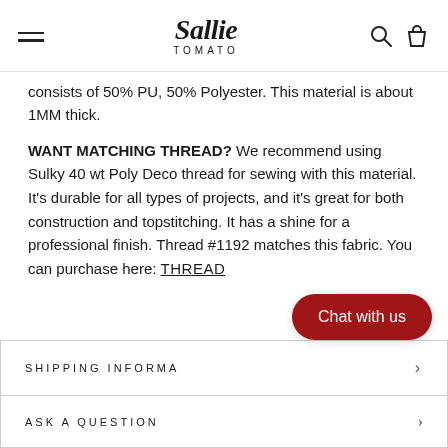Sallie Tomato
consists of 50% PU, 50% Polyester. This material is about 1MM thick.
WANT MATCHING THREAD? We recommend using Sulky 40 wt Poly Deco thread for sewing with this material. It's durable for all types of projects, and it's great for both construction and topstitching. It has a shine for a professional finish. Thread #1192 matches this fabric. You can purchase here: THREAD
SHIPPING INFORMATION
ASK A QUESTION